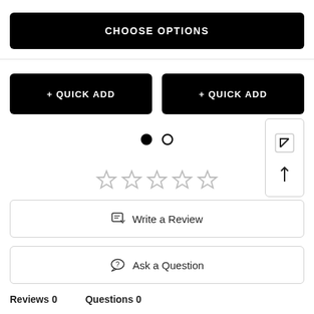CHOOSE OPTIONS
+ QUICK ADD
+ QUICK ADD
[Figure (other): Carousel navigation: one filled dot and one empty circle dot indicator, with expand/scroll icons in a bordered box to the right]
[Figure (other): Five empty star rating icons in a row]
Write a Review
Ask a Question
Reviews  0        Questions  0